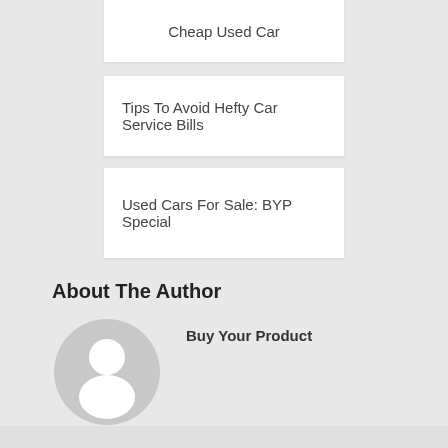Cheap Used Car
Tips To Avoid Hefty Car Service Bills
Used Cars For Sale: BYP Special
About The Author
[Figure (illustration): Generic user avatar icon — gray circle with white silhouette of a person]
Buy Your Product